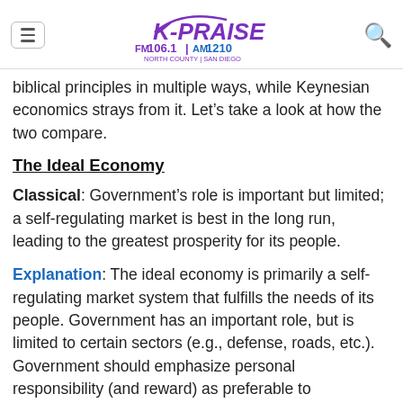K-PRAISE FM 106.1 AM 1210 NORTH COUNTY | SAN DIEGO
biblical principles in multiple ways, while Keynesian economics strays from it. Let's take a look at how the two compare.
The Ideal Economy
Classical: Government's role is important but limited; a self-regulating market is best in the long run, leading to the greatest prosperity for its people.
Explanation: The ideal economy is primarily a self-regulating market system that fulfills the needs of its people. Government has an important role, but is limited to certain sectors (e.g., defense, roads, etc.). Government should emphasize personal responsibility (and reward) as preferable to government responsibility or manipulation. Letting capitalism or the free markets take